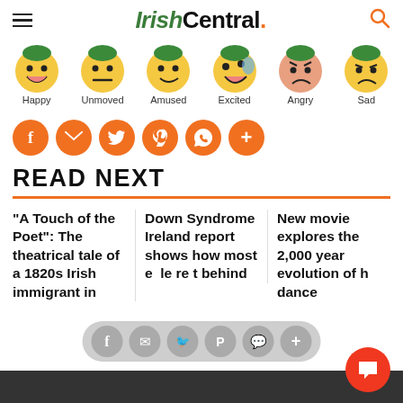IrishCentral.
[Figure (illustration): Six emoji reaction faces labeled Happy, Unmoved, Amused, Excited, Angry, Sad]
[Figure (infographic): Social share buttons: Facebook, Email, Twitter, Pinterest, WhatsApp, More]
READ NEXT
"A Touch of the Poet": The theatrical tale of a 1820s Irish immigrant in
Down Syndrome Ireland report shows how most e le re t behind
New movie explores the 2,000 year evolution of h dance